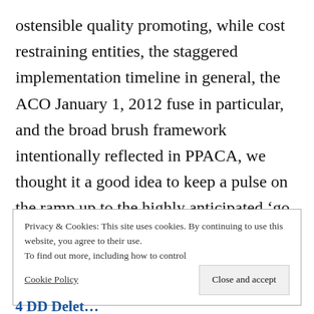ostensible quality promoting, while cost restraining entities, the staggered implementation timeline in general, the ACO January 1, 2012 fuse in particular, and the broad brush framework intentionally reflected in PPACA, we thought it a good idea to keep a pulse on the ramp up to the highly anticipated ‘go live’ date.
Privacy & Cookies: This site uses cookies. By continuing to use this website, you agree to their use. To find out more, including how to control cookies, see here: Cookie Policy